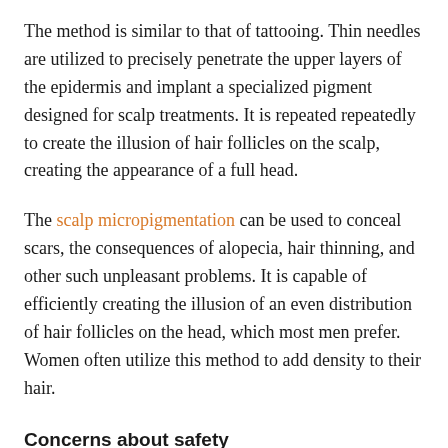The method is similar to that of tattooing. Thin needles are utilized to precisely penetrate the upper layers of the epidermis and implant a specialized pigment designed for scalp treatments. It is repeated repeatedly to create the illusion of hair follicles on the scalp, creating the appearance of a full head.
The scalp micropigmentation can be used to conceal scars, the consequences of alopecia, hair thinning, and other such unpleasant problems. It is capable of efficiently creating the illusion of an even distribution of hair follicles on the head, which most men prefer. Women often utilize this method to add density to their hair.
Concerns about safety
Although the treatment is relatively new, it is deemed safe due to the absence of invasive procedures. You